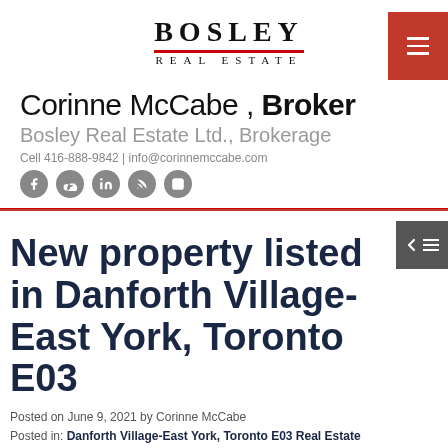[Figure (logo): Bosley Real Estate logo with red underline and 'REAL ESTATE' subtitle]
Corinne McCabe , Broker
Bosley Real Estate Ltd., Brokerage
Cell 416-888-9842 | info@corinnemccabe.com
[Figure (illustration): Social media icons: Facebook, Google, LinkedIn, RSS, Instagram]
New property listed in Danforth Village-East York, Toronto E03
Posted on June 9, 2021 by Corinne McCabe
Posted in: Danforth Village-East York, Toronto E03 Real Estate
[Figure (illustration): Twitter and Facebook share icons]